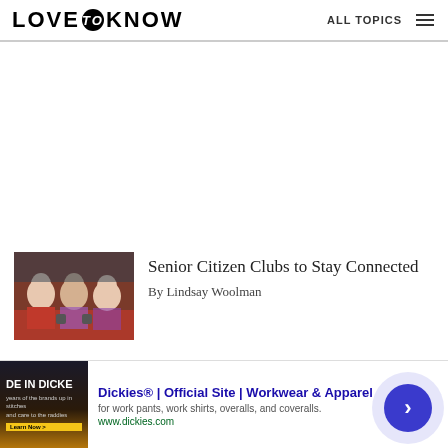LOVE to KNOW | ALL TOPICS
[Figure (photo): Three elderly women sitting together at a table, smiling, diner/restaurant setting]
Senior Citizen Clubs to Stay Connected
By Lindsay Woolman
[Figure (photo): Advertisement banner: Dickies | Official Site | Workwear & Apparel - for work pants, work shirts, overalls, and coveralls. www.dickies.com]